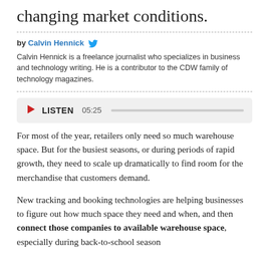changing market conditions.
by Calvin Hennick
Calvin Hennick is a freelance journalist who specializes in business and technology writing. He is a contributor to the CDW family of technology magazines.
[Figure (other): Audio player widget showing play button, LISTEN label, timestamp 05:25, and a progress bar]
For most of the year, retailers only need so much warehouse space. But for the busiest seasons, or during periods of rapid growth, they need to scale up dramatically to find room for the merchandise that customers demand.
New tracking and booking technologies are helping businesses to figure out how much space they need and when, and then connect those companies to available warehouse space, especially during back-to-school season